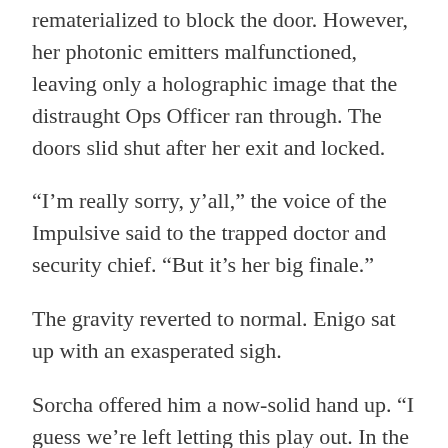rematerialized to block the door. However, her photonic emitters malfunctioned, leaving only a holographic image that the distraught Ops Officer ran through. The doors slid shut after her exit and locked.
“I’m really sorry, y’all,” the voice of the Impulsive said to the trapped doctor and security chief. “But it’s her big finale.”
The gravity reverted to normal. Enigo sat up with an exasperated sigh.
Sorcha offered him a now-solid hand up. “I guess we’re left letting this play out. In the meantime, Captain, I’ll devise a way to disable the nanobots.”
“We’ll let Lieutenant Perez’s team know. Bridge out.”